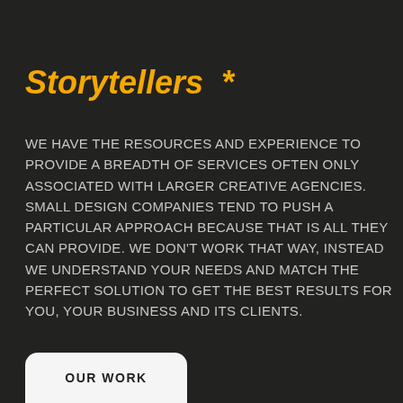Storytellers *
WE HAVE THE RESOURCES AND EXPERIENCE TO PROVIDE A BREADTH OF SERVICES OFTEN ONLY ASSOCIATED WITH LARGER CREATIVE AGENCIES. SMALL DESIGN COMPANIES TEND TO PUSH A PARTICULAR APPROACH BECAUSE THAT IS ALL THEY CAN PROVIDE. WE DON'T WORK THAT WAY, INSTEAD WE UNDERSTAND YOUR NEEDS AND MATCH THE PERFECT SOLUTION TO GET THE BEST RESULTS FOR YOU, YOUR BUSINESS AND ITS CLIENTS.
OUR WORK